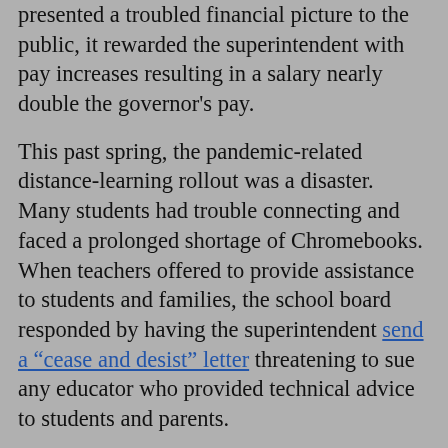presented a troubled financial picture to the public, it rewarded the superintendent with pay increases resulting in a salary nearly double the governor's pay.
This past spring, the pandemic-related distance-learning rollout was a disaster. Many students had trouble connecting and faced a prolonged shortage of Chromebooks. When teachers offered to provide assistance to students and families, the school board responded by having the superintendent send a “cease and desist” letter threatening to sue any educator who provided technical advice to students and parents.
Faced with a return to distance learning this